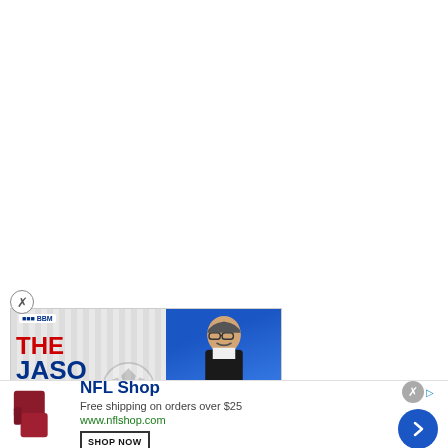[Figure (advertisement): The Jason Barrett Podcast advertisement featuring BBM logo, bold red and navy text 'THE JASO BARRE PODCAST' with soccer ball graphic on white/gray background, and right side showing Paul Finebaum in blue background with red banner text 'PAUL FINEBAUM KNOWS THE POWER']
[Figure (advertisement): NFL Shop advertisement with product image of red/maroon NFL equipment, text 'NFL Shop', 'Free shipping on orders over $25', 'www.nflshop.com', 'SHOP NOW' button, close X button, and blue circular next arrow button]